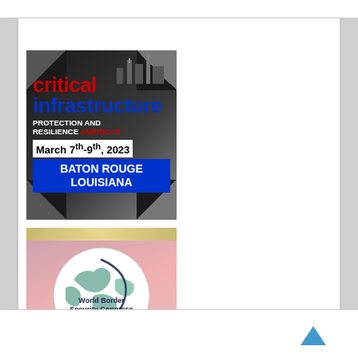[Figure (illustration): Critical Infrastructure Protection and Resilience Americas conference advertisement. Red text 'critical', blue text 'infrastructure', white text 'PROTECTION AND RESILIENCE', red text 'AMERICAS'. Date: March 7th-9th, 2023. Location: BATON ROUGE LOUISIANA in blue on dark background with diagonal corner decorations.]
[Figure (illustration): World Border Security Congress advertisement on pink/salmon background. Globe graphic in center. Text: 'World Border Security Congress', dates '25th-27th APRIL 2023', location 'SKOPJE, NORTH MACEDONIA (BALKANS)', website 'www.world8-border-congress.com' on red banner at bottom.]